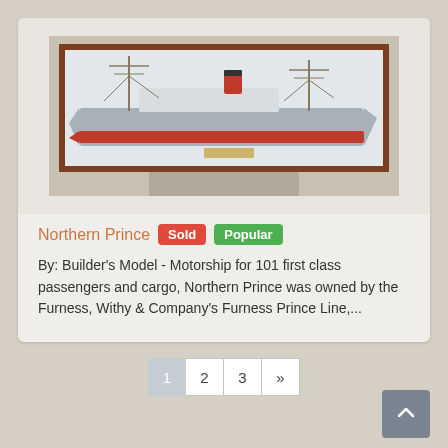[Figure (photo): A ship builder's model of the Northern Prince displayed in a glass and mahogany wood case on a pedestal. The model shows a motorship with grey hull, red stripe, multiple masts and a red funnel.]
Northern Prince
Sold
Popular
By: Builder's Model - Motorship for 101 first class passengers and cargo, Northern Prince was owned by the Furness, Withy & Company's Furness Prince Line,...
1  2  3  »